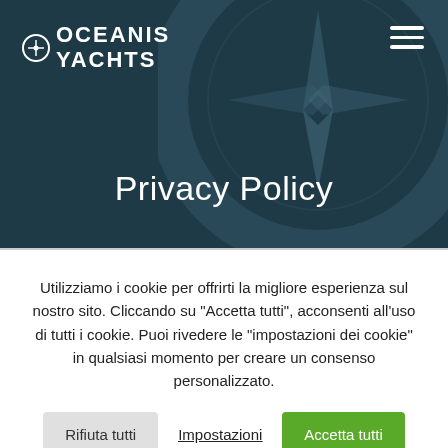[Figure (logo): Oceanis Yachts logo with compass icon, white text on dark teal background, hamburger menu icon top right]
Privacy Policy
Utilizziamo i cookie per offrirti la migliore esperienza sul nostro sito. Cliccando su "Accetta tutti", acconsenti all'uso di tutti i cookie. Puoi rivedere le "impostazioni dei cookie" in qualsiasi momento per creare un consenso personalizzato.
Rifiuta tutti | Impostazioni | Accetta tutti